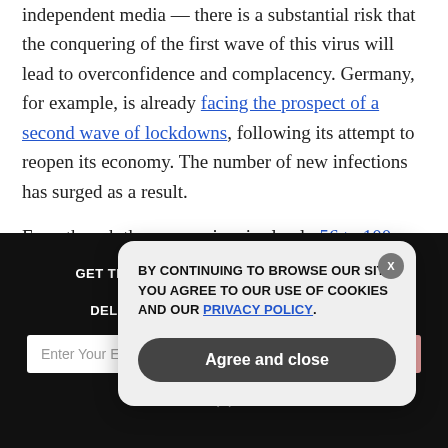independent media — there is a substantial risk that the conquering of the first wave of this virus will lead to overconfidence and complacency. Germany, for example, is already facing the prospect of a second wave of lockdowns, following its attempt to reopen its economy. The number of new infections has surged as a result.
Even though the coronavirus is clearly 56 to 100 times more deadly than the flu when honestly analyzed by any science-minded person who can do math and not make the mistake
[Figure (screenshot): Dark newsletter signup banner with text 'GET THE WORLD'S BEST NATURAL HEALTH NEWSLETTER DELIVERED STRAIGHT TO YOUR INBOX', an email input field, and a SUBSCRIBE button. A cookie consent popup overlays it with text 'BY CONTINUING TO BROWSE OUR SITE YOU AGREE TO OUR USE OF COOKIES AND OUR PRIVACY POLICY.' and an 'Agree and close' button.]